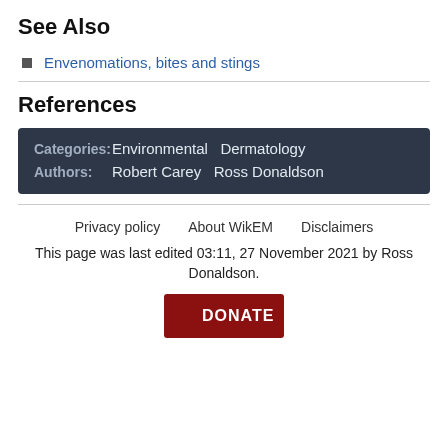See Also
Envenomations, bites and stings
References
Categories: Environmental  Dermatology  Authors: Robert Carey  Ross Donaldson
Privacy policy   About WikEM   Disclaimers
This page was last edited 03:11, 27 November 2021 by Ross Donaldson.
DONATE